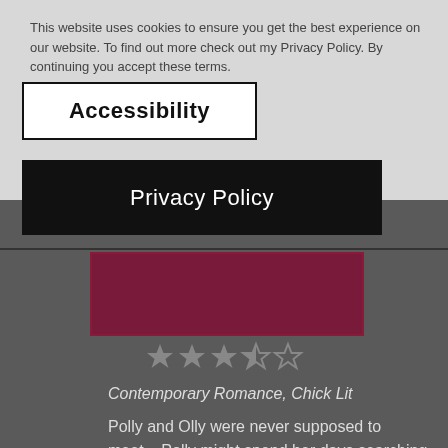This website uses cookies to ensure you get the best experience on our website. To find out more check out my Policy. By continuing you accept these terms.
Accessibility
Privacy Policy
[Figure (other): Book cover thumbnail with dark red/maroon border]
[Figure (other): Star rating: 3.5 out of 5 stars]
Contemporary Romance, Chick Lit
Polly and Olly were never supposed to meet... Polly might spend her days searching for eligible matches for her elite list of clients at her New York dating agency, but her own love life is starting to go up in smoke. Even worse, she can't stop thinking about the very person she's meant to be setting up below...